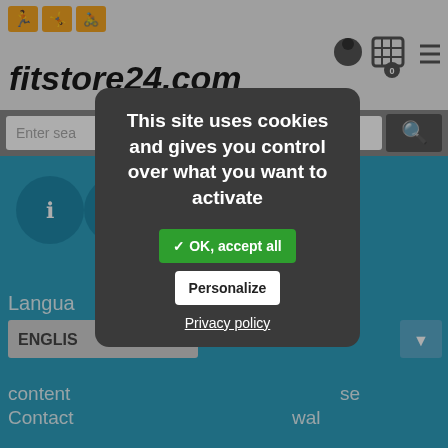[Figure (screenshot): fitstore24.com website header with logo, navigation icons, search bar, blue background with language selector and footer navigation links]
This site uses cookies and gives you control over what you want to activate
✓ OK, accept all
Personalize
Privacy policy